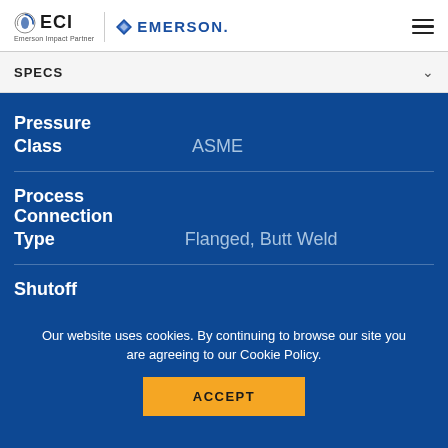ECI Emerson Impact Partner | EMERSON
SPECS
Pressure Class	ASME
Process Connection Type	Flanged, Butt Weld
Shutoff
Our website uses cookies. By continuing to browse our site you are agreeing to our Cookie Policy.
ACCEPT